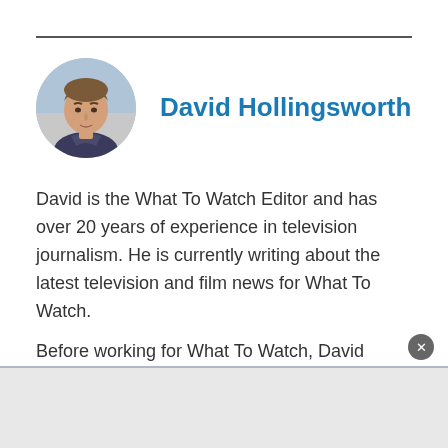[Figure (photo): Circular headshot photo of David Hollingsworth, a man with short hair]
David Hollingsworth
David is the What To Watch Editor and has over 20 years of experience in television journalism. He is currently writing about the latest television and film news for What To Watch.
Before working for What To Watch, David spent many years on TV Times magazine, interviewing …